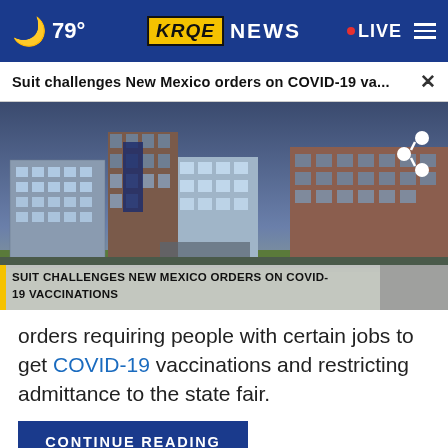🌙 79° | KRQE NEWS | LIVE
Suit challenges New Mexico orders on COVID-19 va... ×
[Figure (photo): Exterior photo of a hospital or medical center building complex at dusk, with brick and glass buildings on a grassy campus. Overlay lower-third text: SUIT CHALLENGES NEW MEXICO ORDERS ON COVID-19 VACCINATIONS]
orders requiring people with certain jobs to get COVID-19 vaccinations and restricting admittance to the state fair.
CONTINUE READING